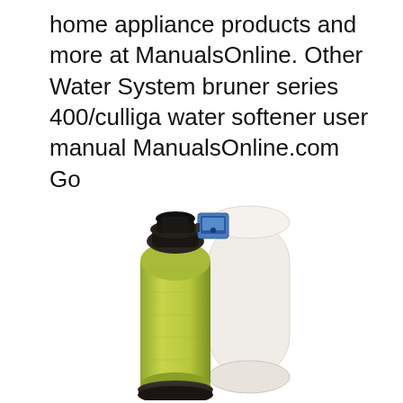home appliance products and more at ManualsOnline. Other Water System bruner series 400/culliga water softener user manual ManualsOnline.com Go
[Figure (photo): A water softener system consisting of a green fiberglass resin tank with a black valve head and a blue digital controller on top, next to a white cylindrical salt/brine tank, on a white background.]